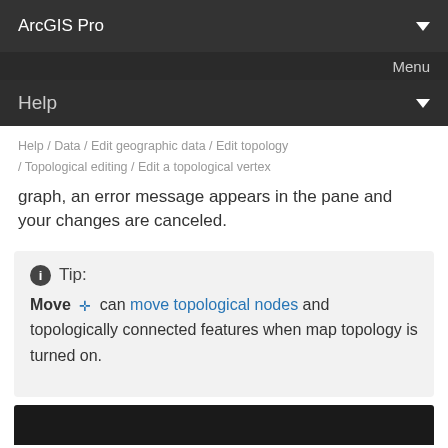ArcGIS Pro
Menu
Help
Help / Data / Edit geographic data / Edit topology / Topological editing / Edit a topological vertex
graph, an error message appears in the pane and your changes are canceled.
Tip: Move can move topological nodes and topologically connected features when map topology is turned on.